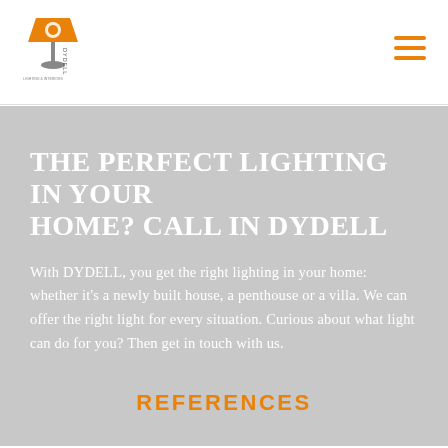DYDELL logo and navigation
THE PERFECT LIGHTING IN YOUR HOME? CALL IN DYDELL
With DYDELL, you get the right lighting in your home: whether it's a newly built house, a penthouse or a villa. We can offer the right light for every situation. Curious about what light can do for you? Then get in touch with us.
REFERENCES